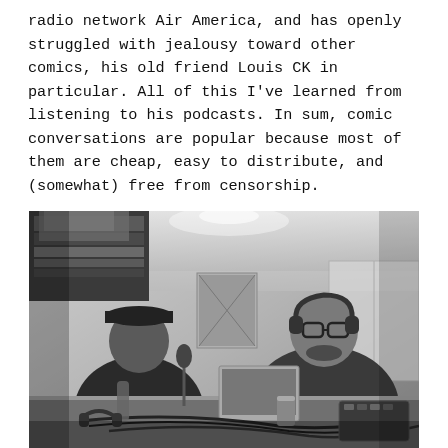radio network Air America, and has openly struggled with jealousy toward other comics, his old friend Louis CK in particular. All of this I've learned from listening to his podcasts. In sum, comic conversations are popular because most of them are cheap, easy to distribute, and (somewhat) free from censorship.
[Figure (photo): Black and white photo of two men sitting across a table recording a podcast in a garage. The man on the right wears glasses and headphones and is speaking. The man on the left wears a cap. The table is covered with recording equipment, cables, microphones, and a laptop.]
Marc Maron (right) interviewing in his garage.